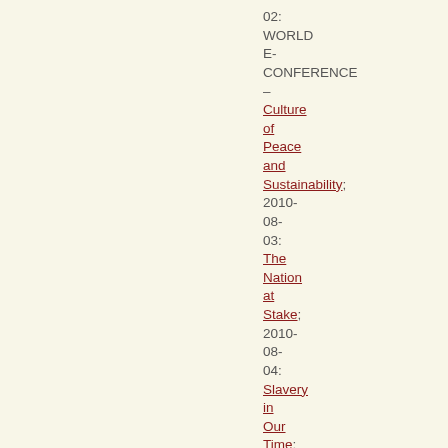02: WORLD E-CONFERENCE – Culture of Peace and Sustainability; 2010-08-03: The Nation at Stake; 2010-08-04: Slavery in Our Time; 2010-08-04: Turning the Key;